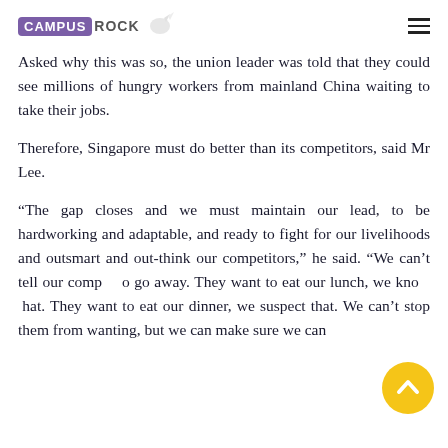CAMPUS ROCK
Asked why this was so, the union leader was told that they could see millions of hungry workers from mainland China waiting to take their jobs.
Therefore, Singapore must do better than its competitors, said Mr Lee.
“The gap closes and we must maintain our lead, to be hardworking and adaptable, and ready to fight for our livelihoods and outsmart and out-think our competitors,” he said. “We can’t tell our comp…o go away. They want to eat our lunch, we kno…hat. They want to eat our dinner, we suspect that. We can’t stop them from wanting, but we can make sure we can